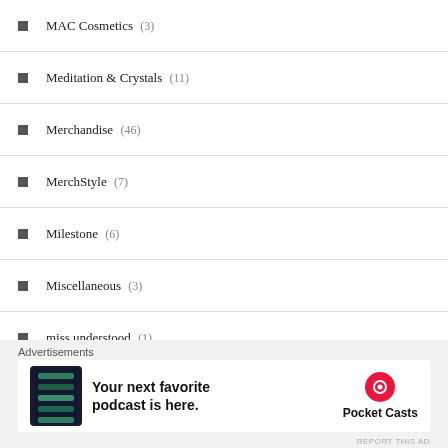MAC Cosmetics (3)
Meditation & Crystals (11)
Merchandise (46)
MerchStyle (7)
Milestone (6)
Miscellaneous (3)
miss understood (1)
Nails (3)
nasty gal (27)
New Era (8)
Outfits (16)
Parsons x Teen Vogue (1)
Advertisements
[Figure (screenshot): Pocket Casts advertisement banner: 'Your next favorite podcast is here.' with Pocket Casts logo]